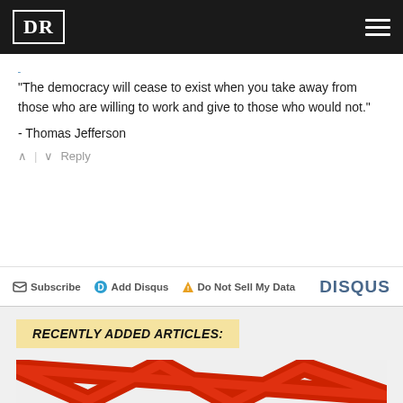DR
"The democracy will cease to exist when you take away from those who are willing to work and give to those who would not."

- Thomas Jefferson
↑ | ↓   Reply
✉ Subscribe  ⓓ Add Disqus  ⚠ Do Not Sell My Data   DISQUS
RECENTLY ADDED ARTICLES:
[Figure (photo): Partial image showing red zigzag arrow shapes on a light background, likely a financial or economic chart illustration]